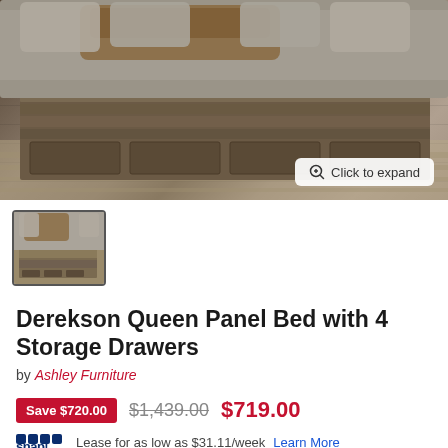[Figure (photo): Photo of a Derekson Queen Panel Bed with 4 Storage Drawers, showing rustic wood panel footboard with drawers, gray bedding with brown throw, on a striped rug. A 'Click to expand' button is visible in the lower right.]
[Figure (photo): Thumbnail image of the same bed from a wider angle showing the full headboard and bedding.]
Derekson Queen Panel Bed with 4 Storage Drawers
by Ashley Furniture
Save $720.00  $1,439.00  $719.00
snap! Lease for as low as $31.11/week Learn More